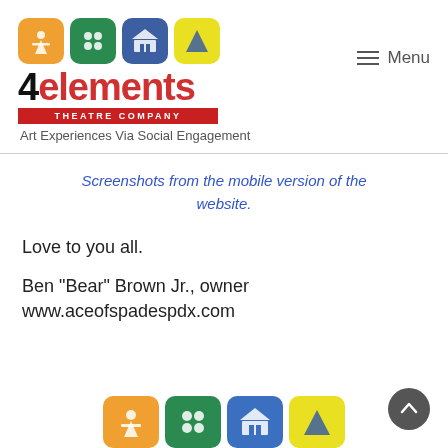[Figure (logo): 4elements Theatre Company logo with four colored icon boxes (orange with person icon, green with dots, blue with building, yellow with triangle) and red banner reading THEATRE COMPANY]
Art Experiences Via Social Engagement
Screenshots from the mobile version of the website.
Love to you all.
Ben "Bear" Brown Jr., owner
www.aceofspadespdx.com
[Figure (logo): 4elements Theatre Company bottom icon row with four colored icon boxes (orange, green, blue, yellow)]